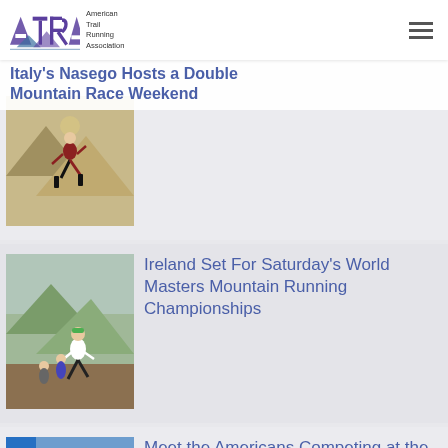American Trail Running Association
Italy's Nasego Hosts a Double Mountain Race Weekend
[Figure (photo): Female trail runner running downhill on a mountain trail]
Ireland Set For Saturday's World Masters Mountain Running Championships
[Figure (photo): Trail runners on a muddy mountain path, lead runner wearing green cap and white top]
Meet the Americans Competing at the World Masters Mountain Running Championships
[Figure (photo): Runners at a race finish area with blue inflatable arch, number 124 visible]